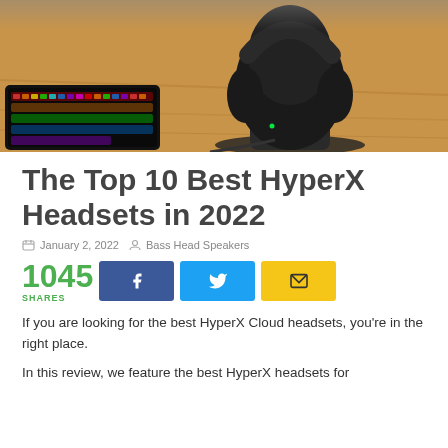[Figure (photo): Gaming headset on a stand with a RGB keyboard on a wooden desk surface]
The Top 10 Best HyperX Headsets in 2022
January 2, 2022   Bass Head Speakers
1045 SHARES [Facebook] [Twitter] [Email]
If you are looking for the best HyperX Cloud headsets, you're in the right place.
In this review, we feature the best HyperX headsets for